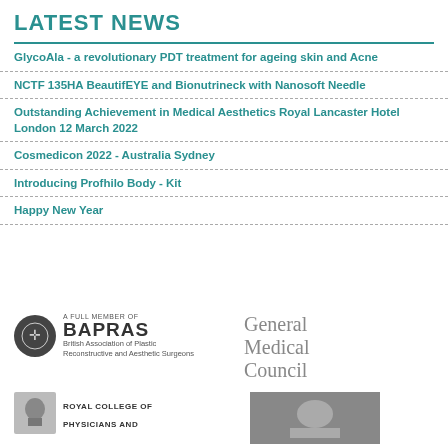LATEST NEWS
GlycoAla - a revolutionary PDT treatment for ageing skin and Acne
NCTF 135HA BeautifEYE and Bionutrineck with Nanosoft Needle
Outstanding Achievement in Medical Aesthetics Royal Lancaster Hotel London 12 March 2022
Cosmedicon 2022 - Australia Sydney
Introducing Profhilo Body - Kit
Happy New Year
[Figure (logo): BAPRAS logo - A Full Member of BAPRAS, British Association of Plastic Reconstructive and Aesthetic Surgeons]
[Figure (logo): General Medical Council logo]
[Figure (logo): Royal College of Physicians and Surgeons logo]
[Figure (logo): Grey box logo placeholder]